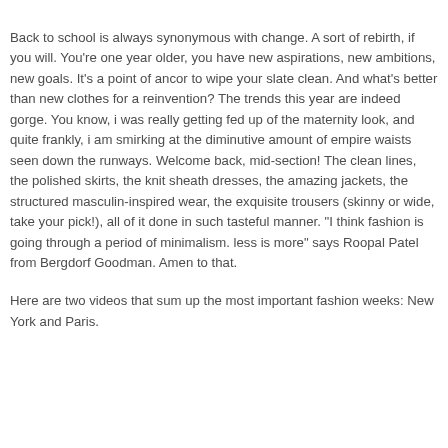Back to school is always synonymous with change. A sort of rebirth, if you will. You're one year older, you have new aspirations, new ambitions, new goals. It's a point of ancor to wipe your slate clean. And what's better than new clothes for a reinvention? The trends this year are indeed gorge. You know, i was really getting fed up of the maternity look, and quite frankly, i am smirking at the diminutive amount of empire waists seen down the runways. Welcome back, mid-section! The clean lines, the polished skirts, the knit sheath dresses, the amazing jackets, the structured masculin-inspired wear, the exquisite trousers (skinny or wide, take your pick!), all of it done in such tasteful manner. "I think fashion is going through a period of minimalism. less is more" says Roopal Patel from Bergdorf Goodman. Amen to that.
Here are two videos that sum up the most important fashion weeks: New York and Paris.